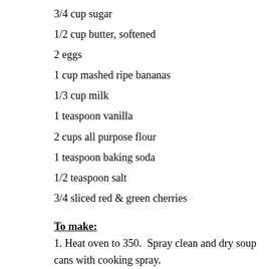3/4 cup sugar
1/2 cup butter, softened
2 eggs
1 cup mashed ripe bananas
1/3 cup milk
1 teaspoon vanilla
2 cups all purpose flour
1 teaspoon baking soda
1/2 teaspoon salt
3/4 sliced red & green cherries
To make:
1. Heat oven to 350.  Spray clean and dry soup cans with cooking spray.
2. In large bowl, beat sugar and butter until light and fluffy. Add eggs and beat. Add bananas, milk and vanilla